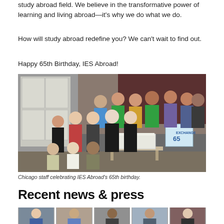study abroad field. We believe in the transformative power of learning and living abroad—it's why we do what we do.
How will study abroad redefine you? We can't wait to find out.
Happy 65th Birthday, IES Abroad!
[Figure (photo): Group photo of Chicago staff celebrating IES Abroad's 65th birthday, standing in an office with a decorated cake and an 'Exchange 65' poster.]
Chicago staff celebrating IES Abroad's 65th birthday.
Recent news & press
[Figure (photo): Row of thumbnail photos showing various students and people outdoors and indoors.]